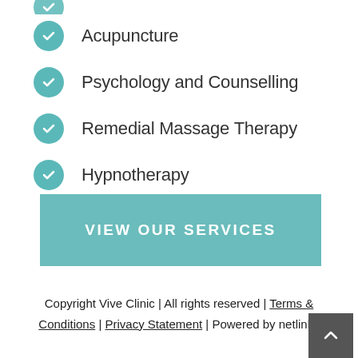Acupuncture
Psychology and Counselling
Remedial Massage Therapy
Hypnotherapy
VIEW OUR SERVICES
Copyright Vive Clinic | All rights reserved | Terms & Conditions | Privacy Statement | Powered by netlinks